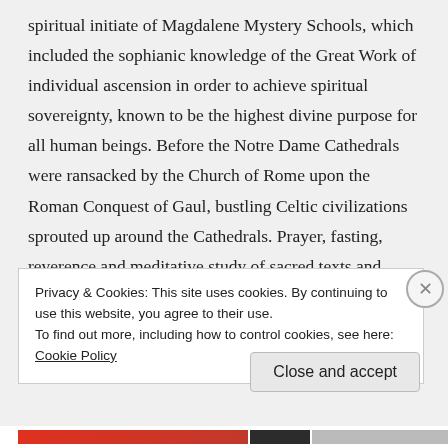spiritual initiate of Magdalene Mystery Schools, which included the sophianic knowledge of the Great Work of individual ascension in order to achieve spiritual sovereignty, known to be the highest divine purpose for all human beings. Before the Notre Dame Cathedrals were ransacked by the Church of Rome upon the Roman Conquest of Gaul, bustling Celtic civilizations sprouted up around the Cathedrals. Prayer, fasting, reverence and meditative study of sacred texts and imagery of
Privacy & Cookies: This site uses cookies. By continuing to use this website, you agree to their use.
To find out more, including how to control cookies, see here: Cookie Policy
Close and accept